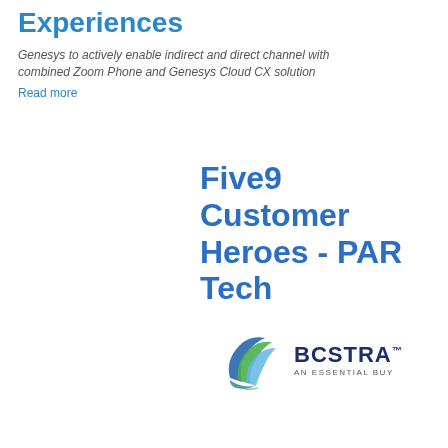Experiences
Genesys to actively enable indirect and direct channel with combined Zoom Phone and Genesys Cloud CX solution
Read more
Five9 Customer Heroes - PAR Tech
[Figure (logo): BCSTRA AN ESSENTIAL BUY logo with stylized blue and green swoosh/feather icon]